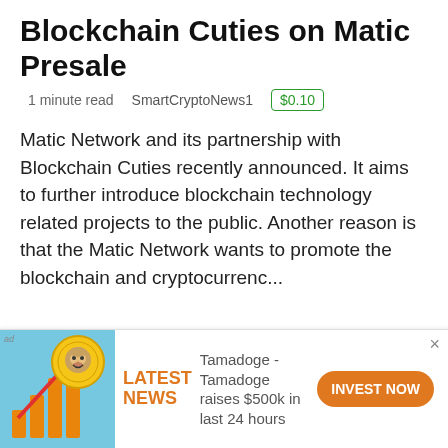Blockchain Cuties on Matic Presale
1 minute read   SmartCryptoNews1   $0.10
Matic Network and its partnership with Blockchain Cuties recently announced. It aims to further introduce blockchain technology related projects to the public. Another reason is that the Matic Network wants to promote the blockchain and cryptocurrenc...
[Figure (screenshot): PublishOx logo on red background with blue border]
[Figure (infographic): Tamadoge ad banner with doge coin image, orange LATEST NEWS text, description 'Tamadoge - Tamadoge raises $500k in last 24 hours', and orange INVEST NOW button]